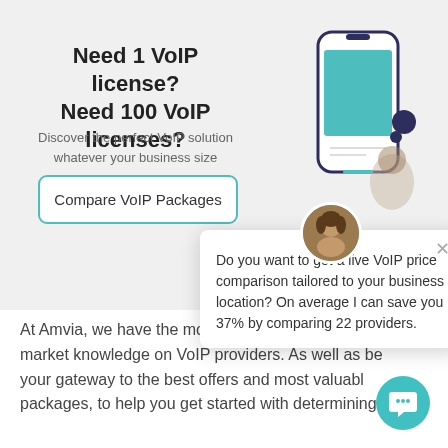Need 1 VoIP license?
Need 100 VoIP licenses?
Discover the perfect VoIP solution whatever your business size
Compare VoIP Packages
[Figure (illustration): Illustration of a smartphone with teal/green screen and earbuds beside it]
Do you want to get a live VoIP price comparison tailored to your business location? On average I can save you 37% by comparing 22 providers.
At Amvia, we have the most up to date and in-depth market knowledge on VoIP providers. As well as being your gateway to the best offers and most valuable packages, to help you get started with determining